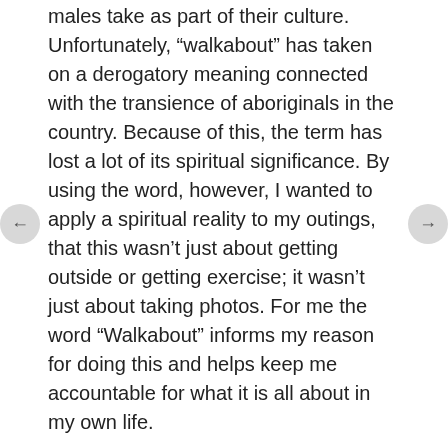males take as part of their culture. Unfortunately, “walkabout” has taken on a derogatory meaning connected with the transience of aboriginals in the country. Because of this, the term has lost a lot of its spiritual significance. By using the word, however, I wanted to apply a spiritual reality to my outings, that this wasn’t just about getting outside or getting exercise; it wasn’t just about taking photos. For me the word “Walkabout” informs my reason for doing this and helps keep me accountable for what it is all about in my own life.
When you consider things this way, it is hard not to see God in all things.